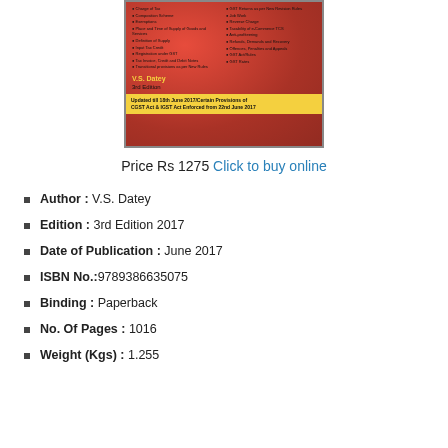[Figure (illustration): Book cover of GST textbook by V.S. Datey, 3rd Edition. Red background with two columns of bullet points listing topics, author name in yellow, edition information, and a yellow banner with update date.]
Price Rs 1275 Click to buy online
Author : V.S. Datey
Edition : 3rd Edition 2017
Date of Publication : June 2017
ISBN No.:9789386635075
Binding : Paperback
No. Of Pages : 1016
Weight (Kgs) : 1.255